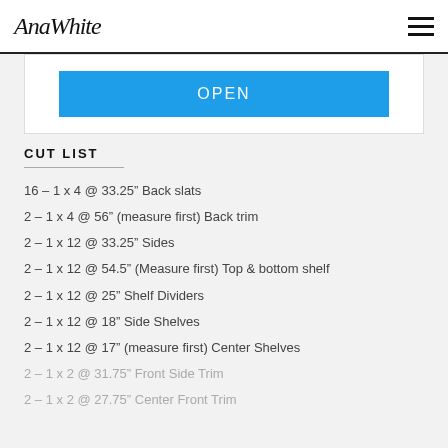AnaWhite
OPEN
CUT LIST
16 – 1 x 4 @ 33.25" Back slats
2 – 1 x 4 @ 56" (measure first) Back trim
2 – 1 x 12 @ 33.25" Sides
2 – 1 x 12 @ 54.5" (Measure first) Top & bottom shelf
2 – 1 x 12 @ 25" Shelf Dividers
2 – 1 x 12 @ 18" Side Shelves
2 – 1 x 12 @ 17" (measure first) Center Shelves
2 – 1 x 2 @ 31.75" Front Side Trim
2 – 1 x 2 @ 27.75" Center Front Trim